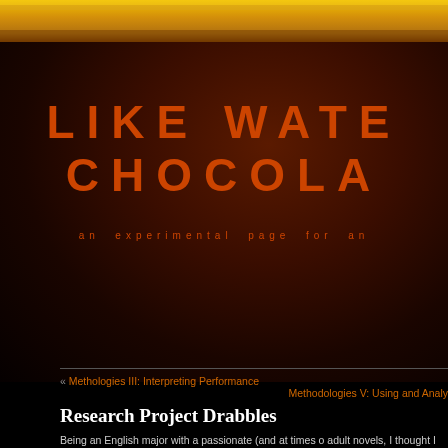[Figure (illustration): Gold/yellow textured decorative top bar with granular texture]
LIKE WATER FOR CHOCOLATE
an experimental page for an
« Methologies III: Interpreting Performance
Methodologies V: Using and Analy
Research Project Drabbles
Being an English major with a passionate (and at times adult novels, I thought I should center my final project on from the obvious issues of lack of black representation i about how black teens are reading these texts, and wha
When I reflect on my teenage years, most of the stories loving were supernatural, sci-fi, and… well, white. This w Morrison and the like, but in the young adult section